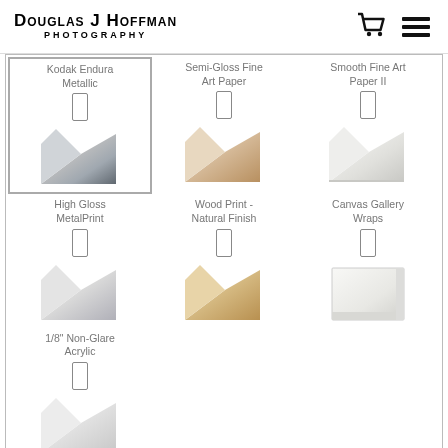Douglas J Hoffman Photography
Kodak Endura Metallic
Semi-Gloss Fine Art Paper
Smooth Fine Art Paper II
High Gloss MetalPrint
Wood Print - Natural Finish
Canvas Gallery Wraps
1/8" Non-Glare Acrylic
This website uses cookies to ensure you get the best experience on our website.
Got it!